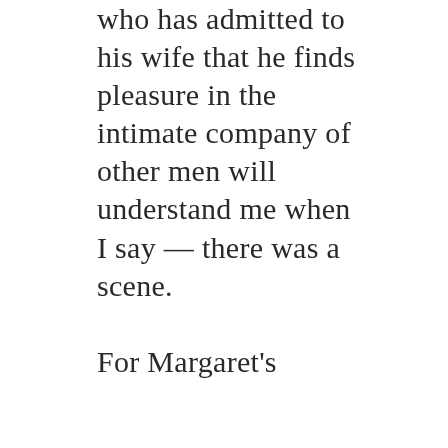who has admitted to his wife that he finds pleasure in the intimate company of other men will understand me when I say — there was a scene.

For Margaret's